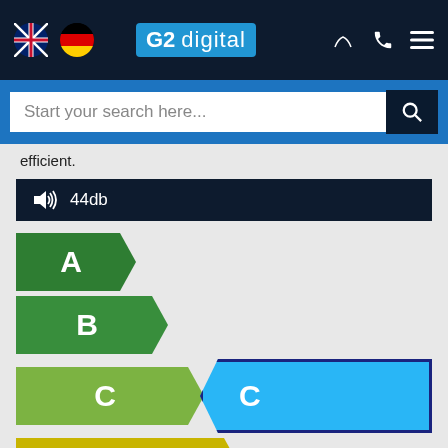[Figure (screenshot): G2 Digital website navigation bar with UK and German flag icons, G2 digital logo, phone and hamburger menu icons]
[Figure (screenshot): Search bar with placeholder text 'Start your search here...' and search button]
efficient.
🔊 44db
[Figure (infographic): Energy efficiency rating chart showing labels A (dark green), B (medium green), C (olive green) with selected C rating shown in blue extending to the right, and D (yellow-green)]